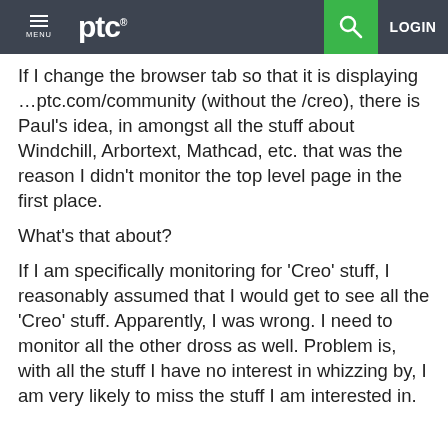MENU  ptc®  [search]  LOGIN
If I change the browser tab so that it is displaying …ptc.com/community (without the /creo), there is Paul's idea, in amongst all the stuff about Windchill, Arbortext, Mathcad, etc. that was the reason I didn't monitor the top level page in the first place.
What's that about?
If I am specifically monitoring for 'Creo' stuff, I reasonably assumed that I would get to see all the 'Creo' stuff. Apparently, I was wrong. I need to monitor all the other dross as well. Problem is, with all the stuff I have no interest in whizzing by, I am very likely to miss the stuff I am interested in.